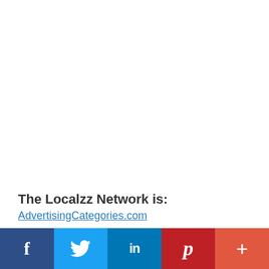The Localzz Network is:
AdvertisingCategories.com
[Figure (infographic): Social media sharing bar with five buttons: Facebook (dark blue), Twitter (light blue), LinkedIn (medium blue), Pinterest (dark red), and More/Plus (orange-red)]